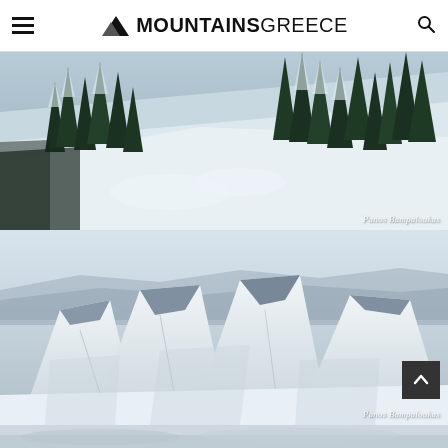MOUNTAINSGREECE – navigation bar with hamburger menu and search icon
[Figure (photo): Snowy mountain slope with tall dark evergreen fir trees covered in snow, bright winter daylight. Watermark: Panos Bampaloukas]
[Figure (photo): Close-up of snow-covered jagged rocky mountain peaks under a pale blue sky with distant hazy mountain ridges in the background. Watermark: Panos Bampaloukas]
[Figure (photo): Partial view of another snowy mountain scene, cropped at the bottom of the page]